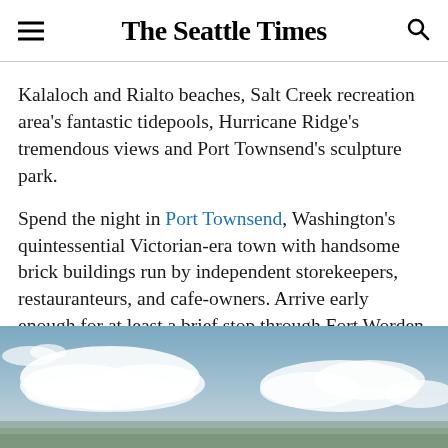The Seattle Times
Kalaloch and Rialto beaches, Salt Creek recreation area's fantastic tidepools, Hurricane Ridge's tremendous views and Port Townsend's sculpture park.
Spend the night in Port Townsend, Washington's quintessential Victorian-era town with handsome brick buildings run by independent storekeepers, restauranteurs, and cafe-owners. Arrive early enough for at least a brief stop through Fort Worden State Park, salt-water dip at Soak on the Sound, and a film at Rose Theatre.
[Figure (photo): Sky with white clouds against a light blue background, bottom portion of a landscape/outdoor photo]